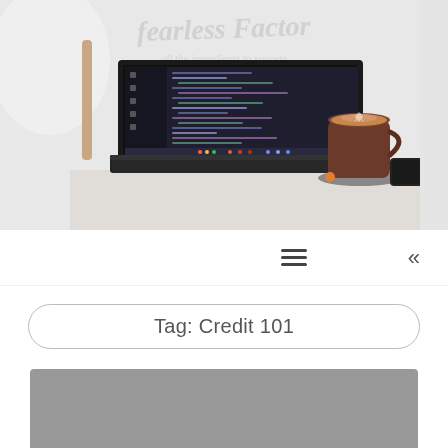[Figure (photo): Hero photo showing an open laptop with a dark code editor on the screen, a latte coffee cup on a saucer, a smartphone, and a white chair in the background. Faint watermark text reads 'fearless Factor' and 'all the ingredients to success'.]
≡   «
Tag: Credit 101
[Figure (photo): Gray placeholder thumbnail image for a blog post article.]